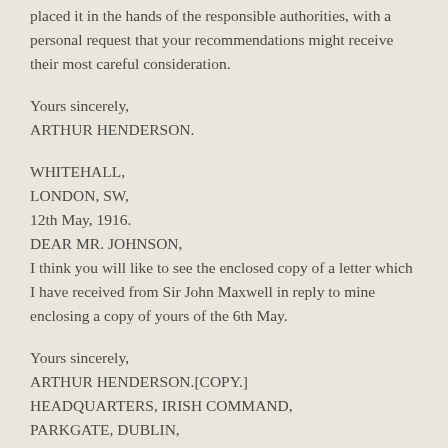placed it in the hands of the responsible authorities, with a personal request that your recommendations might receive their most careful consideration.
Yours sincerely,
ARTHUR HENDERSON.
WHITEHALL,
LONDON, SW,
12th May, 1916.
DEAR MR. JOHNSON,
I think you will like to see the enclosed copy of a letter which I have received from Sir John Maxwell in reply to mine enclosing a copy of yours of the 6th May.
Yours sincerely,
ARTHUR HENDERSON.[COPY.]
HEADQUARTERS, IRISH COMMAND,
PARKGATE, DUBLIN,